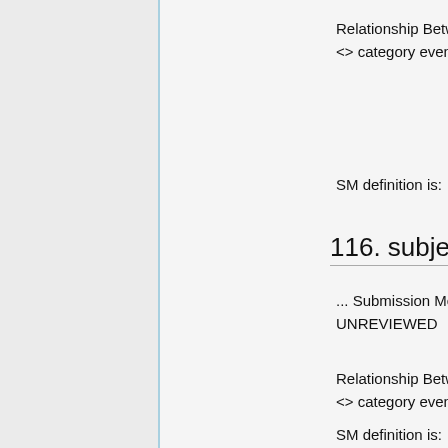Relationship Between: [submission unit <> category event]
SM definition is:
116. subject2
... Submission Message Definition - UNREVIEWED
Relationship Between: [category event <> category event]
SM definition is: